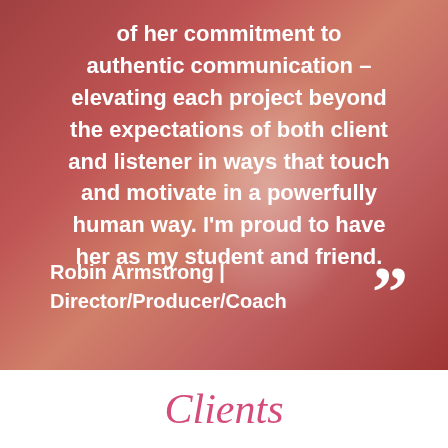of her commitment to authentic communication – elevating each project beyond the expectations of both client and listener in ways that touch and motivate in a powerfully human way. I'm proud to have her as my student and friend.
Robin Armstrong | Director/Producer/Coach
Clients